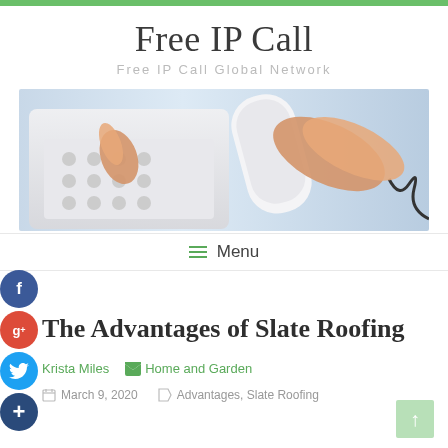Free IP Call — Free IP Call Global Network
[Figure (photo): Hand holding a white telephone handset and pressing buttons on a white office phone keypad]
≡  Menu
The Advantages of Slate Roofing
Krista Miles    🏷 Home and Garden
📅 March 9, 2020    🏷 Advantages, Slate Roofing